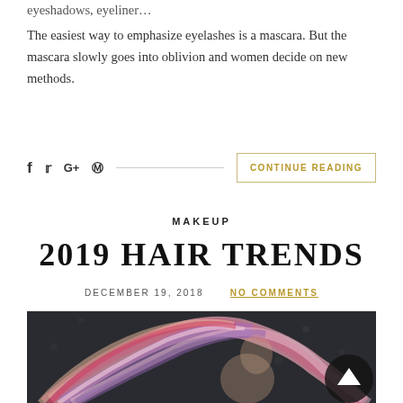eyeshadows, eyeliner…
The easiest way to emphasize eyelashes is a mascara. But the mascara slowly goes into oblivion and women decide on new methods.
CONTINUE READING
MAKEUP
2019 HAIR TRENDS
DECEMBER 19, 2018  NO COMMENTS
[Figure (photo): Woman with colorful pink, purple, and red dip-dyed hair tossing her head back against a dark background]